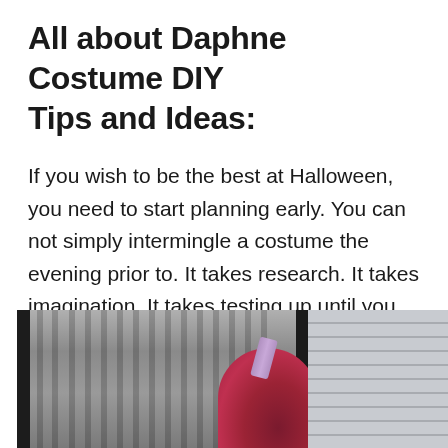All about Daphne Costume DIY Tips and Ideas:
If you wish to be the best at Halloween, you need to start planning early. You can not simply intermingle a costume the evening prior to. It takes research. It takes imagination. It takes testing up until you locate something that helps you.
[Figure (photo): Photo showing a person with red/dark red hair wearing a purple headband, standing near a window with curtains and a grey siding wall visible in the background.]